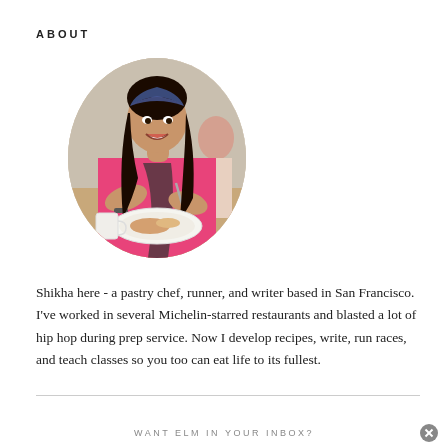ABOUT
[Figure (photo): Oval-cropped photo of a young woman with long dark hair wearing a floral headband and pink top, sitting at a table with a plate of food and a white cup, smiling and using a utensil.]
Shikha here - a pastry chef, runner, and writer based in San Francisco. I've worked in several Michelin-starred restaurants and blasted a lot of hip hop during prep service. Now I develop recipes, write, run races, and teach classes so you too can eat life to its fullest.
WANT ELM IN YOUR INBOX?